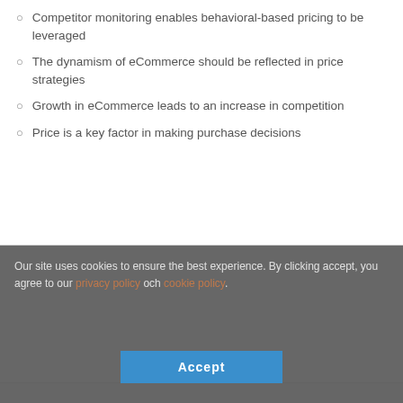Competitor monitoring enables behavioral-based pricing to be leveraged
The dynamism of eCommerce should be reflected in price strategies
Growth in eCommerce leads to an increase in competition
Price is a key factor in making purchase decisions
Our site uses cookies to ensure the best experience. By clicking accept, you agree to our privacy policy och cookie policy.
[Figure (photo): Cookie consent overlay with four circular profile photos of people and an Accept button]